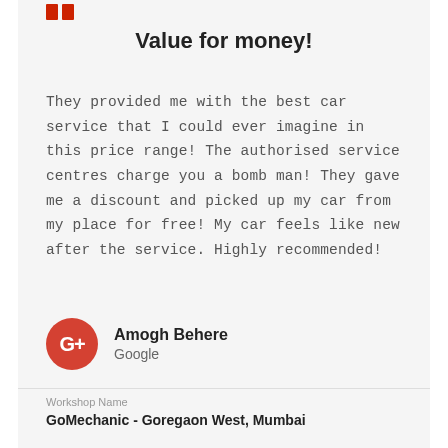[Figure (logo): Two red quotation mark rectangles in top left]
Value for money!
They provided me with the best car service that I could ever imagine in this price range! The authorised service centres charge you a bomb man! They gave me a discount and picked up my car from my place for free! My car feels like new after the service. Highly recommended!
Amogh Behere
Google
Workshop Name
GoMechanic - Goregaon West, Mumbai